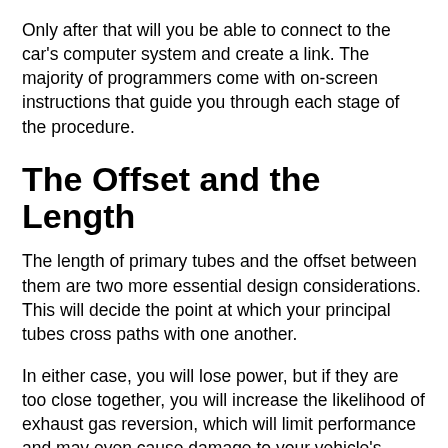Only after that will you be able to connect to the car's computer system and create a link. The majority of programmers come with on-screen instructions that guide you through each stage of the procedure.
The Offset and the Length
The length of primary tubes and the offset between them are two more essential design considerations. This will decide the point at which your principal tubes cross paths with one another.
In either case, you will lose power, but if they are too close together, you will increase the likelihood of exhaust gas reversion, which will limit performance and may even cause damage to your vehicle's engine.